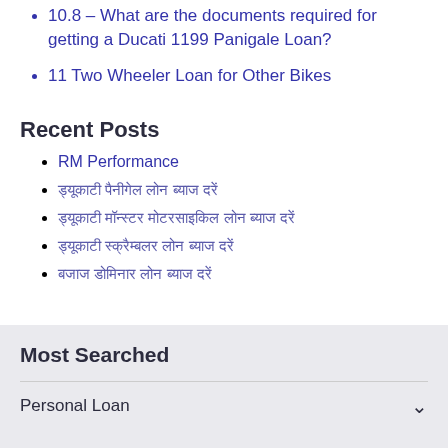10.8 – What are the documents required for getting a Ducati 1199 Panigale Loan?
11 Two Wheeler Loan for Other Bikes
Recent Posts
RM Performance
ड्यूकाटी पैनीगेल लोन ब्याज दरें
ड्यूकाटी मॉन्स्टर मोटरसाइकिल लोन ब्याज दरें
ड्यूकाटी स्क्रैम्बलर लोन ब्याज दरें
बजाज डोमिनार लोन ब्याज दरें
Most Searched
Personal Loan